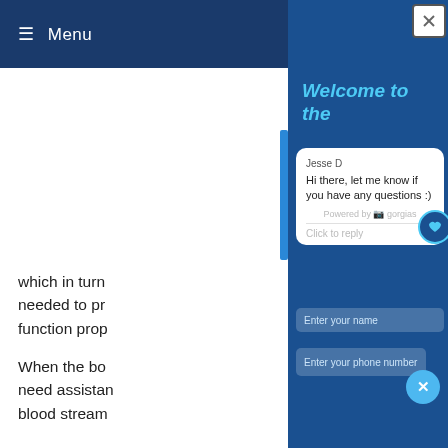≡ Menu
which in turn needed to pr function prop
When the bo need assistan blood stream
Diabetes
e are two
[Figure (screenshot): Chat widget overlay on dark blue background. Title 'Welcome to the' in bold italic cyan. Chat card with agent 'Jesse D', message 'Hi there, let me know if you have any questions :)', 'Powered by gorgias', 'Click to reply'. Input fields: 'Enter your name', 'Enter your phone number'. Close X circle button in cyan. Heart icon. Top-right close button with X.]